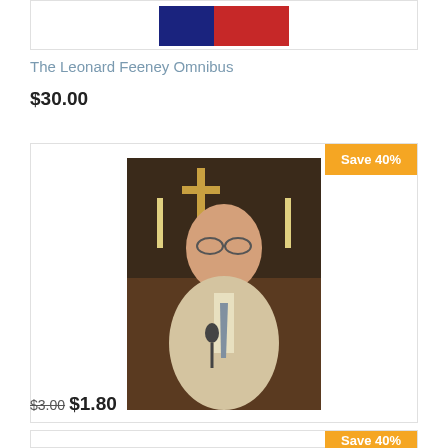[Figure (photo): Top of a product card showing a red/blue book cover image (partially visible)]
The Leonard Feeney Omnibus
$30.00
[Figure (photo): Product card with Save 40% badge. Photo of an older man with glasses in a light blazer and tie, seated at a microphone in front of a church altar with a cross and candles. The Historical Novel as a Channel of Grace MP3.]
The Historical Novel as a Channel of Grace MP3
$3.00 $1.80
[Figure (photo): Bottom product card, partially visible, with Save 40% badge]